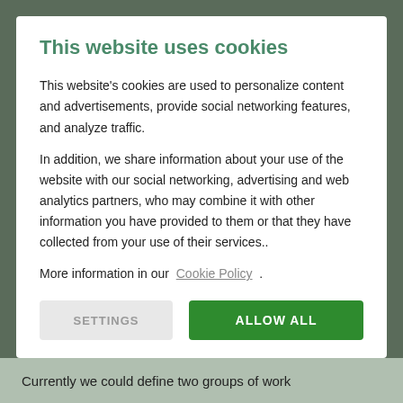This website uses cookies
This website's cookies are used to personalize content and advertisements, provide social networking features, and analyze traffic.
In addition, we share information about your use of the website with our social networking, advertising and web analytics partners, who may combine it with other information you have provided to them or that they have collected from your use of their services..
More information in our Cookie Policy .
SETTINGS    ALLOW ALL
Currently we could define two groups of work